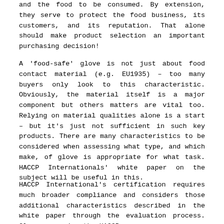and the food to be consumed. By extension, they serve to protect the food business, its customers, and its reputation. That alone should make product selection an important purchasing decision!
A 'food-safe' glove is not just about food contact material (e.g. EU1935) – too many buyers only look to this characteristic. Obviously, the material itself is a major component but others matters are vital too. Relying on material qualities alone is a start – but it's just not sufficient in such key products. There are many characteristics to be considered when assessing what type, and which make, of glove is appropriate for what task. HACCP Internationals' white paper on the subject will be useful in this.
HACCP International's certification requires much broader compliance and considers those additional characteristics described in the white paper through the evaluation process. Gloves carrying the HACCP